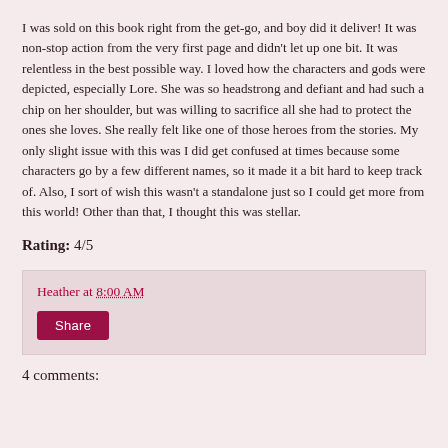I was sold on this book right from the get-go, and boy did it deliver! It was non-stop action from the very first page and didn't let up one bit. It was relentless in the best possible way. I loved how the characters and gods were depicted, especially Lore. She was so headstrong and defiant and had such a chip on her shoulder, but was willing to sacrifice all she had to protect the ones she loves. She really felt like one of those heroes from the stories. My only slight issue with this was I did get confused at times because some characters go by a few different names, so it made it a bit hard to keep track of. Also, I sort of wish this wasn't a standalone just so I could get more from this world! Other than that, I thought this was stellar.
Rating: 4/5
Heather at 8:00 AM
Share
4 comments: